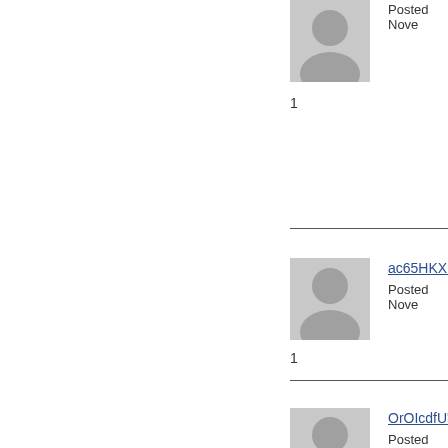[Figure (photo): Default user avatar (gray silhouette) partially visible at top of page, first post block]
Posted Nove...
1
[Figure (photo): Default user avatar (gray silhouette) for user ac65HKXC]
ac65HKXC
Posted Nove...
1
[Figure (photo): Default user avatar (gray silhouette) for user OrOIcdfU')]
OrOIcdfU')
Posted Nove...
1